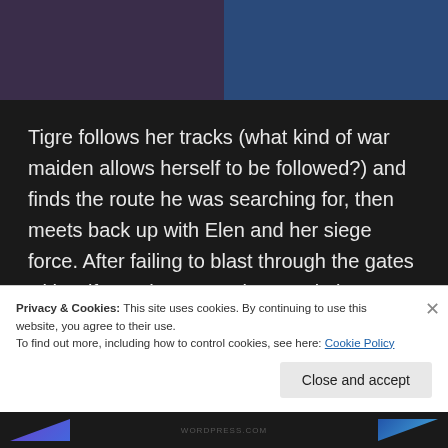[Figure (screenshot): Two anime-style character illustrations side by side at the top of the page — left side showing a dark-robed figure, right side showing an armored blue character.]
Tigre follows her tracks (what kind of war maiden allows herself to be followed?) and finds the route he was searching for, then meets back up with Elen and her siege force. After failing to blast through the gates with Arifar on her own, Tigre again borrows her power for his bow and get the job done, setting up a showdown between Elen and Ludmila. But frankly, I'm not keen on seeing those two interact again. No good can come of it.
Privacy & Cookies: This site uses cookies. By continuing to use this website, you agree to their use.
To find out more, including how to control cookies, see here: Cookie Policy
Close and accept